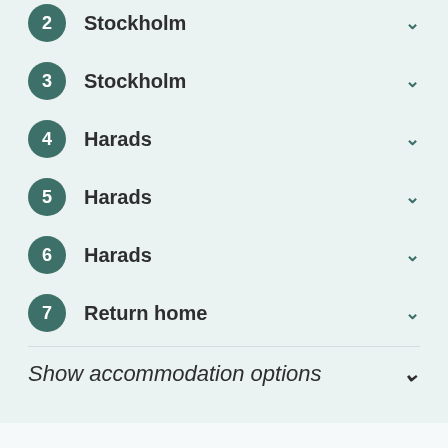2 Stockholm
3 Stockholm
4 Harads
5 Harads
6 Harads
7 Return home
Show accommodation options
What our clients say about us